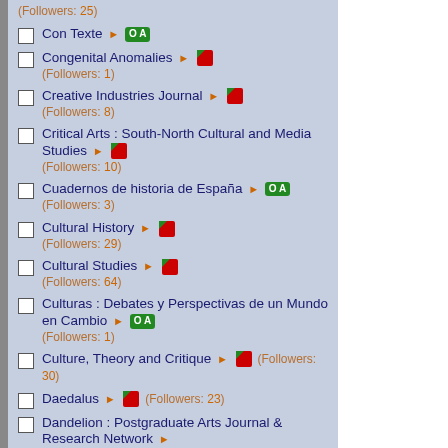(Followers: 25)
Con Texte ► OA
Congenital Anomalies ► (Followers: 1)
Creative Industries Journal ► (Followers: 8)
Critical Arts : South-North Cultural and Media Studies ► (Followers: 10)
Cuadernos de historia de España ► OA (Followers: 3)
Cultural History ► (Followers: 29)
Cultural Studies ► (Followers: 64)
Culturas : Debates y Perspectivas de un Mundo en Cambio ► OA (Followers: 1)
Culture, Theory and Critique ► (Followers: 30)
Daedalus ► (Followers: 23)
Dandelion : Postgraduate Arts Journal & Research Network ►